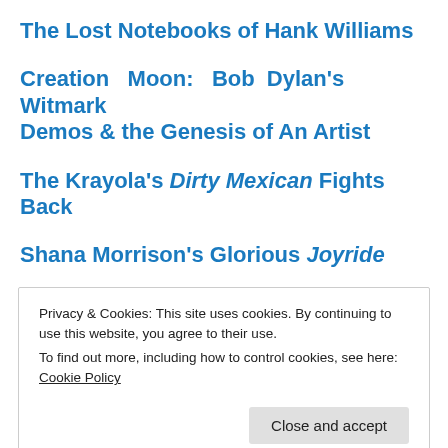The Lost Notebooks of Hank Williams
Creation Moon: Bob Dylan's Witmark Demos & the Genesis of An Artist
The Krayola's Dirty Mexican Fights Back
Shana Morrison's Glorious Joyride
Privacy & Cookies: This site uses cookies. By continuing to use this website, you agree to their use.
To find out more, including how to control cookies, see here: Cookie Policy
Close and accept